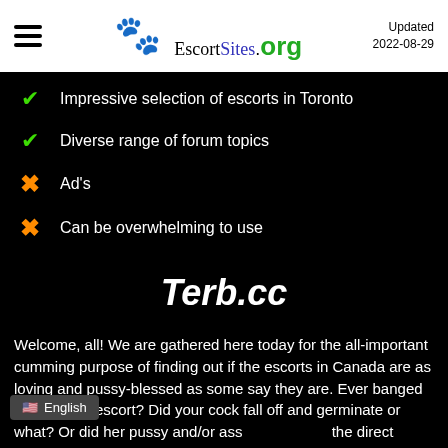EscortSites.org — Updated 2022-08-29
✔ Impressive selection of escorts in Toronto
✔ Diverse range of forum topics
✘ Ad's
✘ Can be overwhelming to use
Terb.cc
Welcome, all! We are gathered here today for the all-important cumming purpose of finding out if the escorts in Canada are as loving and pussy-blessed as some say they are. Ever banged a Canadian escort? Did your cock fall off and germinate or what? Or did her pussy and/or ass... the direct entryway to heaven you hav... or all your life? Better speak up now or f... r silence!